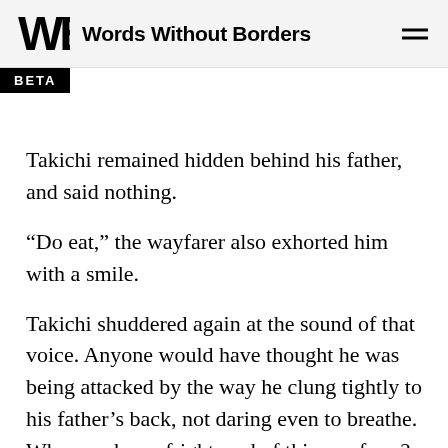Words Without Borders
BETA
Takichi remained hidden behind his father, and said nothing.
“Do eat,” the wayfarer also exhorted him with a smile.
Takichi shuddered again at the sound of that voice. Anyone would have thought he was being attacked by the way he clung tightly to his father’s back, not daring even to breathe. Why was he so frightened of this wayfarer? It might just have been a fear of strangers as is common in children, but ordinarily Takichi was not such a coward. On the contrary, growing up far from any